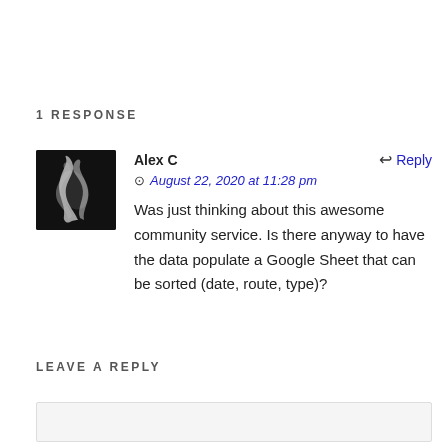1 RESPONSE
[Figure (photo): Avatar photo of Alex C — dark background with white smoke swirl]
Alex C
August 22, 2020 at 11:28 pm
Was just thinking about this awesome community service. Is there anyway to have the data populate a Google Sheet that can be sorted (date, route, type)?
LEAVE A REPLY